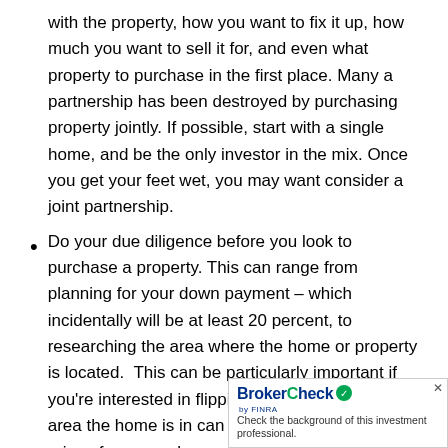with the property, how you want to fix it up, how much you want to sell it for, and even what property to purchase in the first place. Many a partnership has been destroyed by purchasing property jointly. If possible, start with a single home, and be the only investor in the mix. Once you get your feet wet, you may want consider a joint partnership.
Do your due diligence before you look to purchase a property. This can range from planning for your down payment – which incidentally will be at least 20 percent, to researching the area where the home or property is located.  This can be particularly important if you're interested in flipping the house, as the area the home is in can directly affect the asking price of your newly renovated property. No one will want to purchase a beautiful home that resides in [a neglected area]. If you're looking to p[urchase a home that's in a neglected area]
[Figure (other): BrokerCheck by FINRA overlay advertisement in the bottom-right corner. Shows the BrokerCheck logo and text 'Check the background of this investment professional.']